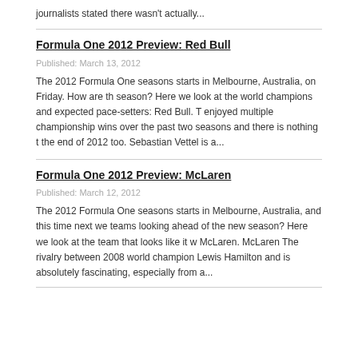journalists stated there wasn't actually...
Formula One 2012 Preview: Red Bull
Published: March 13, 2012
The 2012 Formula One seasons starts in Melbourne, Australia, on Friday. How are the teams looking ahead of the new season? Here we look at the world champions and expected pace-setters: Red Bull. The team have enjoyed multiple championship wins over the past two seasons and there is nothing to suggest this won't continue at the end of 2012 too. Sebastian Vettel is a...
Formula One 2012 Preview: McLaren
Published: March 12, 2012
The 2012 Formula One seasons starts in Melbourne, Australia, and this time next week we'll know more about the teams looking ahead of the new season? Here we look at the team that looks like it will be the biggest rival to Red Bull: McLaren. McLaren The rivalry between 2008 world champion Lewis Hamilton and his team-mate Jenson Button is absolutely fascinating, especially from a...